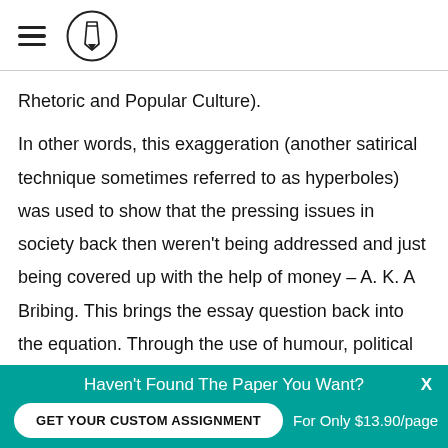[Figure (logo): Website header with hamburger menu icon and circular pencil/pen logo]
Rhetoric and Popular Culture).
In other words, this exaggeration (another satirical technique sometimes referred to as hyperboles) was used to show that the pressing issues in society back then weren't being addressed and just being covered up with the help of money – A. K. A Bribing. This brings the essay question back into the equation. Through the use of humour, political issues and environmental issues that are concerning society, are brought up and reflected on,
Haven't Found The Paper You Want? GET YOUR CUSTOM ASSIGNMENT For Only $13.90/page